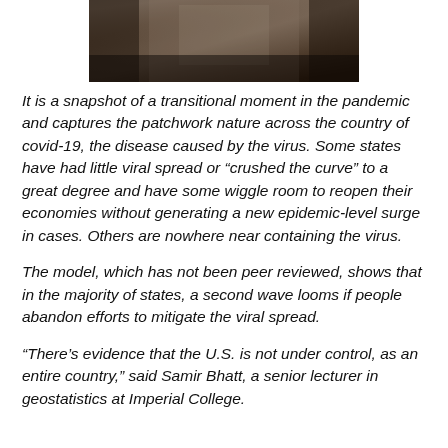[Figure (photo): Partial view of a person in dark clothing, cropped at top of page]
It is a snapshot of a transitional moment in the pandemic and captures the patchwork nature across the country of covid-19, the disease caused by the virus. Some states have had little viral spread or “crushed the curve” to a great degree and have some wiggle room to reopen their economies without generating a new epidemic-level surge in cases. Others are nowhere near containing the virus.
The model, which has not been peer reviewed, shows that in the majority of states, a second wave looms if people abandon efforts to mitigate the viral spread.
“There’s evidence that the U.S. is not under control, as an entire country,” said Samir Bhatt, a senior lecturer in geostatistics at Imperial College.